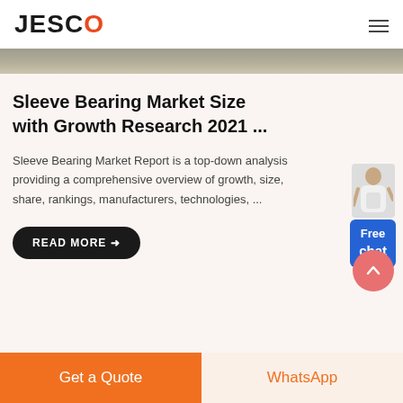JESCO
[Figure (photo): Banner image showing a textured stone or gravel surface]
Sleeve Bearing Market Size with Growth Research 2021 ...
Sleeve Bearing Market Report is a top-down analysis providing a comprehensive overview of growth, size, share, rankings, manufacturers, technologies, ...
[Figure (illustration): Free chat widget with a woman figure pointing and a blue box showing 'Free chat']
READ MORE →
[Figure (other): Scroll to top button — pink/salmon circular button with upward chevron]
Get a Quote
WhatsApp